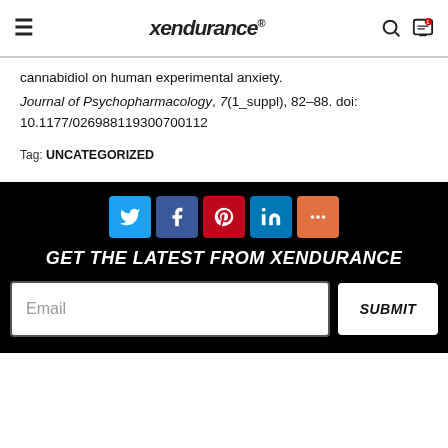xendurance
cannabidiol on human experimental anxiety.
Journal of Psychopharmacology, 7(1_suppl), 82–88. doi: 10.1177/026988119300700112
Tag: UNCATEGORIZED
[Figure (infographic): Social sharing buttons: Twitter (blue), Facebook (dark blue), Pinterest (red), LinkedIn (blue), More (orange)]
GET THE LATEST FROM XENDURANCE
Email input field with SUBMIT button